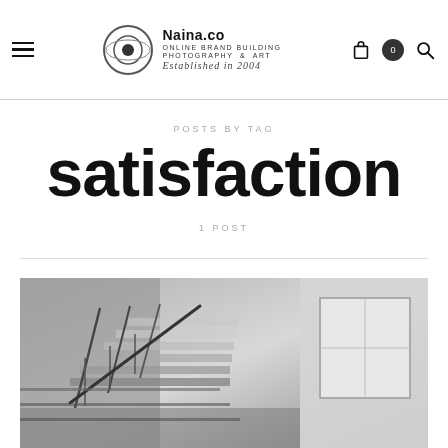Naina.co — ONLINE BRAND BUILDING PHOTOGRAPHY & ART — ESTABLISHED IN 2004
POSTS BY TAG
satisfaction
1 POST
[Figure (photo): Black and white photograph of a staircase with metal railing inside a building, architectural interior shot]